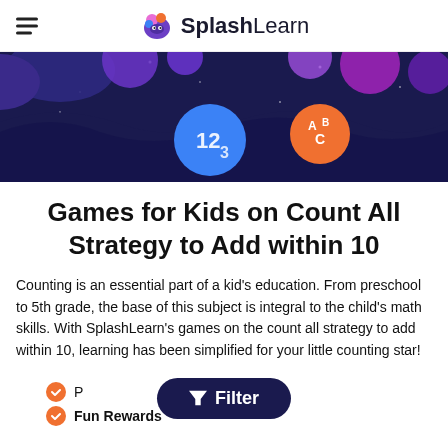SplashLearn
[Figure (illustration): Dark navy banner with colorful floating blobs (purple, blue, magenta) and two circular icons: a blue circle with '123' and an orange circle with 'ABC', set against a starry night-sky background.]
Games for Kids on Count All Strategy to Add within 10
Counting is an essential part of a kid's education. From preschool to 5th grade, the base of this subject is integral to the child's math skills. With SplashLearn's games on the count all strategy to add within 10, learning has been simplified for your little counting star!
[Figure (screenshot): Dark navy 'Filter' button overlay with funnel icon]
Personalized Learning
Fun Rewards